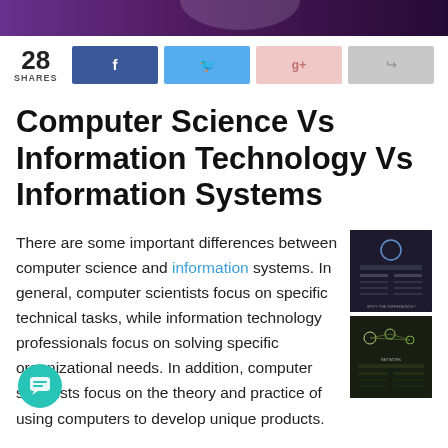[Figure (photo): Top banner image with purple/dark tones, appears to show a music or tech scene]
28 SHARES
[Figure (infographic): Social share buttons: Facebook, Twitter, Google+, and generic share]
Computer Science Vs Information Technology Vs Information Systems
There are some important differences between computer science and information systems. In general, computer scientists focus on specific technical tasks, while information technology professionals focus on solving specific organizational needs. In addition, computer scientists focus on the theory and practice of using computers to develop unique products.
[Figure (screenshot): Two sidebar thumbnail images showing dark-themed infographic or comparison content]